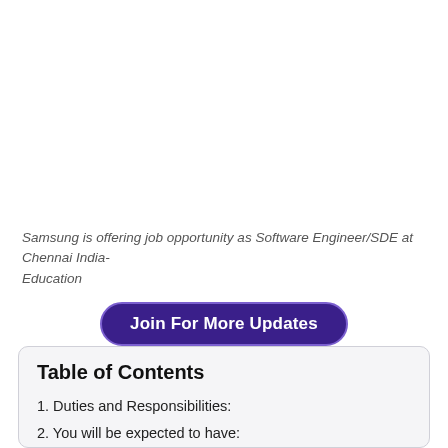Samsung is offering job opportunity as Software Engineer/SDE at Chennai India- Education
Join For More Updates
Table of Contents
1. Duties and Responsibilities:
2. You will be expected to have:
3. Skills needed:
4. Basic Qualifications: